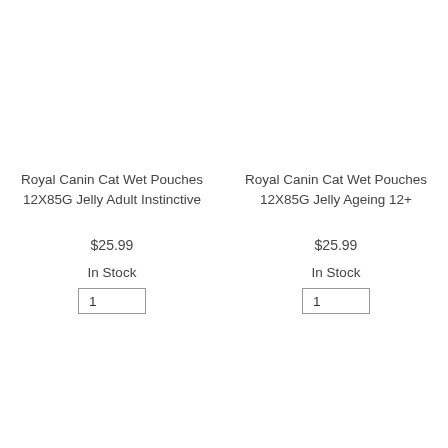Royal Canin Cat Wet Pouches 12X85G Jelly Adult Instinctive
$25.99
In Stock
Royal Canin Cat Wet Pouches 12X85G Jelly Ageing 12+
$25.99
In Stock